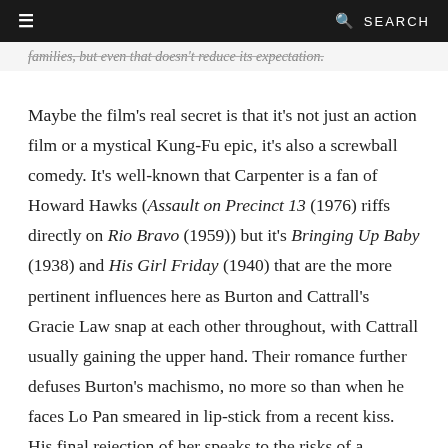≡   🔍 SEARCH
families, but even that doesn't reduce its expectation.
Maybe the film's real secret is that it's not just an action film or a mystical Kung-Fu epic, it's also a screwball comedy. It's well-known that Carpenter is a fan of Howard Hawks (Assault on Precinct 13 (1976) riffs directly on Rio Bravo (1959)) but it's Bringing Up Baby (1938) and His Girl Friday (1940) that are the more pertinent influences here as Burton and Cattrall's Gracie Law snap at each other throughout, with Cattrall usually gaining the upper hand. Their romance further defuses Burton's machismo, no more so than when he faces Lo Pan smeared in lip-stick from a recent kiss. His final rejection of her speaks to the risks of a relationship in which he would no longer be able to buy